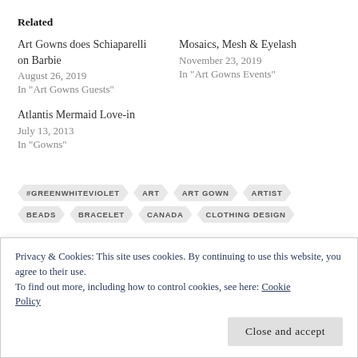Related
Art Gowns does Schiaparelli on Barbie
August 26, 2019
In "Art Gowns Guests"
Mosaics, Mesh & Eyelash
November 23, 2019
In "Art Gowns Events"
Atlantis Mermaid Love-in
July 13, 2013
In "Gowns"
#GREENWHITEVIOLET  ART  ART GOWN  ARTIST
BEADS  BRACELET  CANADA  CLOTHING DESIGN
Privacy & Cookies: This site uses cookies. By continuing to use this website, you agree to their use.
To find out more, including how to control cookies, see here: Cookie Policy
Close and accept